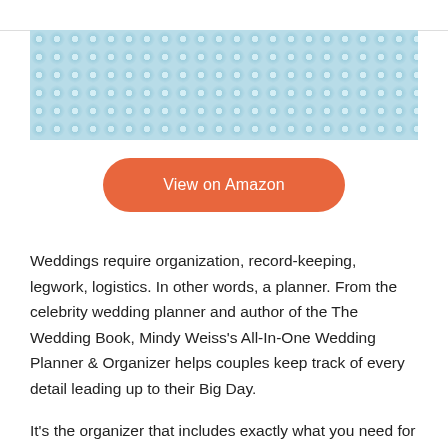[Figure (photo): Light blue dimpled/quilted texture pattern image spanning the top section of the page]
View on Amazon
Weddings require organization, record-keeping, legwork, logistics. In other words, a planner. From the celebrity wedding planner and author of the The Wedding Book, Mindy Weiss's All-In-One Wedding Planner & Organizer helps couples keep track of every detail leading up to their Big Day.
It's the organizer that includes exactly what you need for